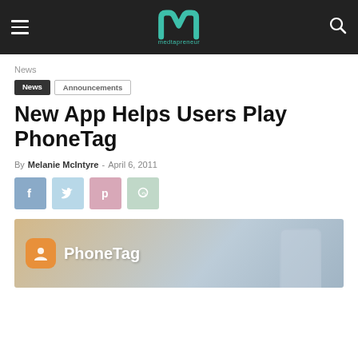medtapreneur — navigation bar with hamburger menu, logo, and search icon
News
News
Announcements
New App Helps Users Play PhoneTag
By Melanie McIntyre - April 6, 2011
[Figure (infographic): Social sharing buttons: Facebook (blue), Twitter (light blue), Pinterest (pink), WhatsApp (light green)]
[Figure (screenshot): PhoneTag app banner showing orange icon with person silhouette, PhoneTag logo text in white, and phone silhouette on gradient background]